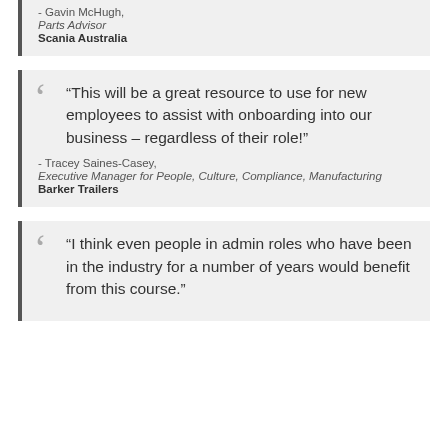- Gavin McHugh,
Parts Advisor
Scania Australia
“This will be a great resource to use for new employees to assist with onboarding into our business – regardless of their role!”
- Tracey Saines-Casey,
Executive Manager for People, Culture, Compliance, Manufacturing
Barker Trailers
“I think even people in admin roles who have been in the industry for a number of years would benefit from this course.”